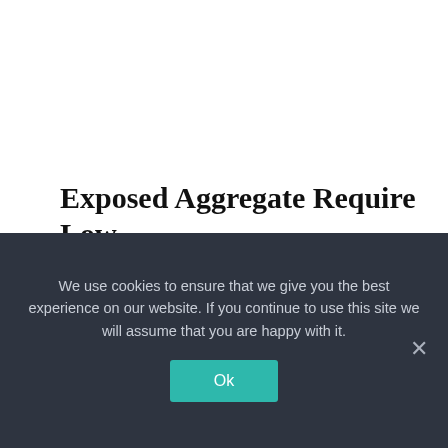[Figure (other): Hamburger menu icon button in top-left area]
Exposed Aggregate Require Low Maintenance
We use cookies to ensure that we give you the best experience on our website. If you continue to use this site we will assume that you are happy with it.